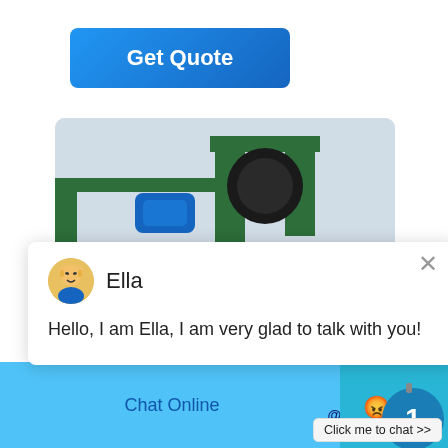Get Quote
[Figure (screenshot): Industrial machinery - top view with green frame and black roller, blue motor]
[Figure (screenshot): Chat popup: avatar of Ella, message 'Hello, I am Ella, I am very glad to talk with you!']
[Figure (photo): Industrial machinery bottom view - green frames, red and white striped elements, white equipment]
Ella
Hello, I am Ella, I am very glad to talk with you!
1
Click me to chat >>
Enquiry
Chat Online
cywaitml @gmail.com